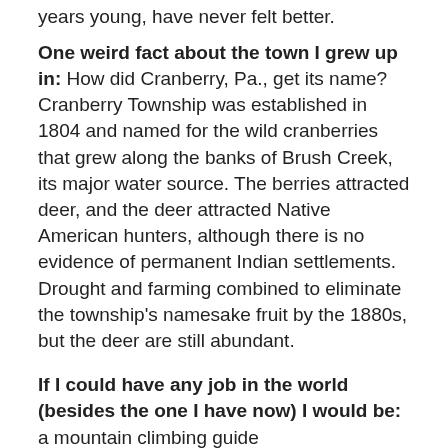years young, have never felt better.
One weird fact about the town I grew up in: How did Cranberry, Pa., get its name? Cranberry Township was established in 1804 and named for the wild cranberries that grew along the banks of Brush Creek, its major water source. The berries attracted deer, and the deer attracted Native American hunters, although there is no evidence of permanent Indian settlements. Drought and farming combined to eliminate the township's namesake fruit by the 1880s, but the deer are still abundant.
If I could have any job in the world (besides the one I have now) I would be: a mountain climbing guide
Email  Tweet